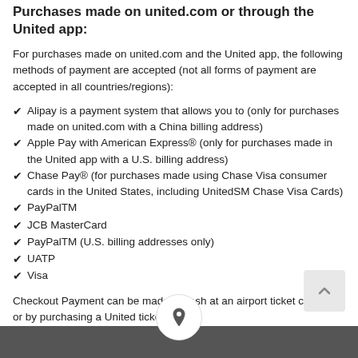Purchases made on united.com or through the United app:
For purchases made on united.com and the United app, the following methods of payment are accepted (not all forms of payment are accepted in all countries/regions):
Alipay is a payment system that allows you to (only for purchases made on united.com with a China billing address)
Apple Pay with American Express® (only for purchases made in the United app with a U.S. billing address)
Chase Pay® (for purchases made using Chase Visa consumer cards in the United States, including UnitedSM Chase Visa Cards)
PayPalTM
JCB MasterCard
PayPalTM (U.S. billing addresses only)
UATP
Visa
Checkout Payment can be made in cash at an airport ticket counter or by purchasing a United ticket.